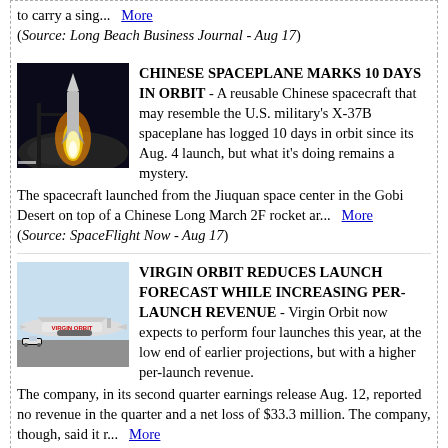to carry a sing...   More
(Source: Long Beach Business Journal - Aug 17)
[Figure (photo): Rocket launch at night with bright flames, Chinese space launch vehicle]
CHINESE SPACEPLANE MARKS 10 DAYS IN ORBIT - A reusable Chinese spacecraft that may resemble the U.S. military's X-37B spaceplane has logged 10 days in orbit since its Aug. 4 launch, but what it's doing remains a mystery. The spacecraft launched from the Jiuquan space center in the Gobi Desert on top of a Chinese Long March 2F rocket ar...   More
(Source: SpaceFlight Now - Aug 17)
[Figure (photo): Virgin Orbit aircraft and launch vehicle on tarmac]
VIRGIN ORBIT REDUCES LAUNCH FORECAST WHILE INCREASING PER-LAUNCH REVENUE - Virgin Orbit now expects to perform four launches this year, at the low end of earlier projections, but with a higher per-launch revenue. The company, in its second quarter earnings release Aug. 12, reported no revenue in the quarter and a net loss of $33.3 million. The company, though, said it r...   More
(Source: SpaceNews - Aug 16)
Older news
Links   Terms of Use   Privacy Policy   Contact Us
Copyright © MSN...  All rights reserved...